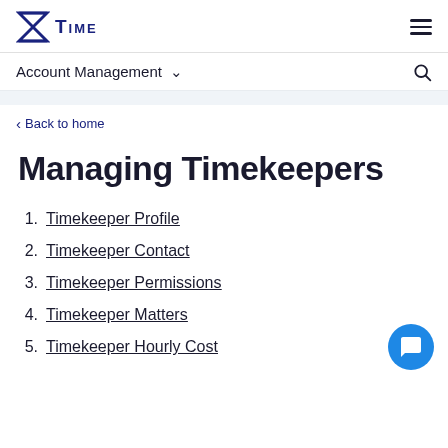[Figure (logo): X Time logo with hourglass/X icon in dark blue and the word TIME in uppercase]
Account Management ∨
< Back to home
Managing Timekeepers
1. Timekeeper Profile
2. Timekeeper Contact
3. Timekeeper Permissions
4. Timekeeper Matters
5. Timekeeper Hourly Cost